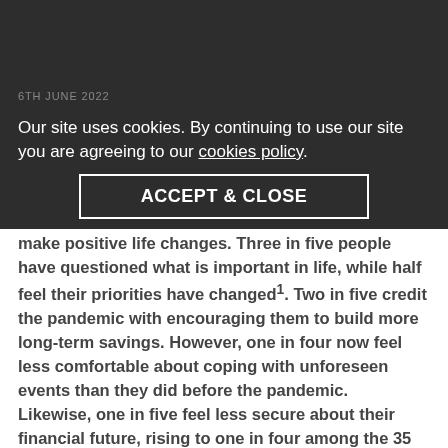6TH JUNE 2022
Our site uses cookies. By continuing to use our site you are agreeing to our cookies policy.
ACCEPT & CLOSE
Many people have used the last couple of years to make positive life changes. Three in five people have questioned what is important in life, while half feel their priorities have changed¹. Two in five credit the pandemic with encouraging them to build more long-term savings. However, one in four now feel less comfortable about coping with unforeseen events than they did before the pandemic. Likewise, one in five feel less secure about their financial future, rising to one in four among the 35 to 44 age group.
Thirties and forties
Although 35 to 44 year-olds are the largest cohort to